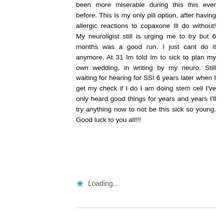been more miserable during this this ever before. This is my only pill option, after having allergic reactions to copaxone Ill do without! My neuroligist still is urging me to try but 6 months was a good run. I just cant do it anymore. At 31 Im told Im to sick to plan my own wedding, in writing by my neuro. Still waiting for hearing for SSI 6 years later when I get my check if I do I am doing stem cell I've only heard good things for years and years I'll try anything now to not be this sick so young. Good luck to you all!!!
Loading...